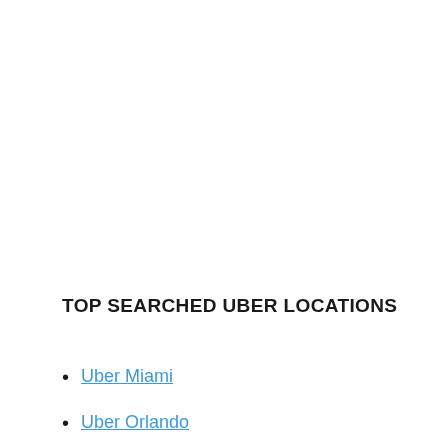TOP SEARCHED UBER LOCATIONS
Uber Miami
Uber Orlando